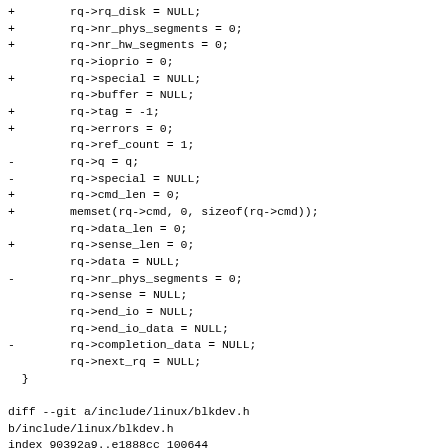Code diff showing changes to Linux kernel block device request initialization code and diff header for include/linux/blkdev.h